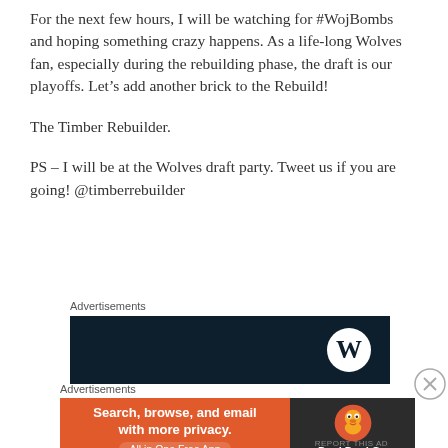For the next few hours, I will be watching for #WojBombs and hoping something crazy happens. As a life-long Wolves fan, especially during the rebuilding phase, the draft is our playoffs. Let’s add another brick to the Rebuild!
The Timber Rebuilder.
PS – I will be at the Wolves draft party. Tweet us if you are going! @timberrebuilder
Advertisements
[Figure (screenshot): Dark navy advertisement banner with WordPress logo (white circle with W) on the right side]
Advertisements
[Figure (screenshot): DuckDuckGo advertisement: orange left panel reading 'Search, browse, and email with more privacy. All in One Free App' and dark right panel with DuckDuckGo duck logo and text 'DuckDuckGo']